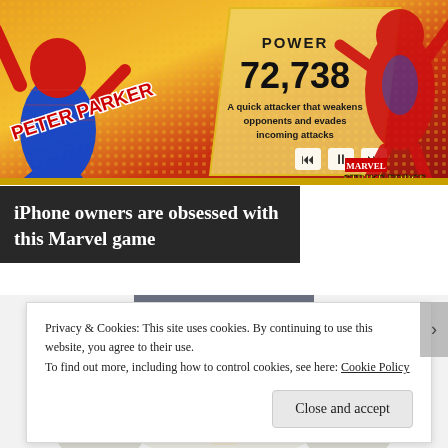[Figure (screenshot): Marvel Strike Force mobile game advertisement banner showing Spider-Man (Peter Parker) with POWER 72,738 stat and description 'A quick attacker that weakens opponents and evades incoming attacks'. Media playback controls visible. Marvel and Strike Force branding.]
iPhone owners are obsessed with this Marvel game
[Figure (illustration): Illustrated character with white hair wearing a dark cowboy hat, smiling elderly face visible from nose up]
Privacy & Cookies: This site uses cookies. By continuing to use this website, you agree to their use.
To find out more, including how to control cookies, see here: Cookie Policy
Close and accept